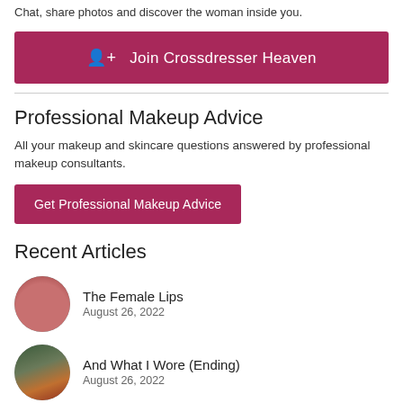Chat, share photos and discover the woman inside you.
[Figure (other): Purple/magenta button: Join Crossdresser Heaven]
[Figure (other): Horizontal divider line]
Professional Makeup Advice
All your makeup and skincare questions answered by professional makeup consultants.
[Figure (other): Purple/magenta button: Get Professional Makeup Advice]
Recent Articles
The Female Lips — August 26, 2022
And What I Wore (Ending) — August 26, 2022